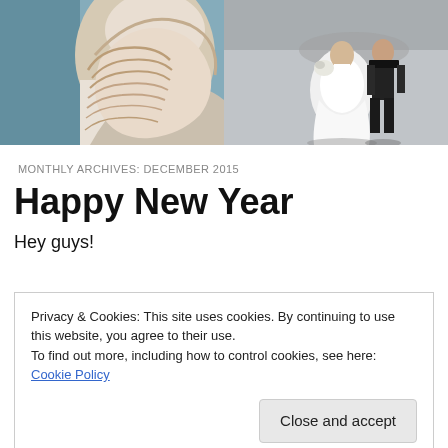[Figure (photo): Two side-by-side photos: left photo shows a close-up of a woman's face and hair (blonde/ombre hair, white top, partial face visible); right photo shows a bride and groom from above/behind on pavement, bride in white ball gown, groom in dark suit.]
MONTHLY ARCHIVES: DECEMBER 2015
Happy New Year
Hey guys!
Privacy & Cookies: This site uses cookies. By continuing to use this website, you agree to their use.
To find out more, including how to control cookies, see here: Cookie Policy
Close and accept